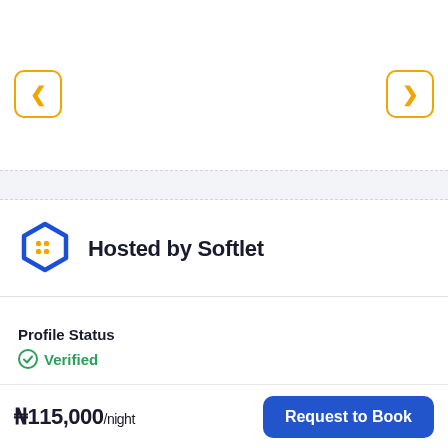[Figure (other): Navigation carousel with left and right arrow buttons styled with orange border and arrows]
Hosted by Softlet
Profile Status
Verified
View Profile
₦115,000/night
Request to Book